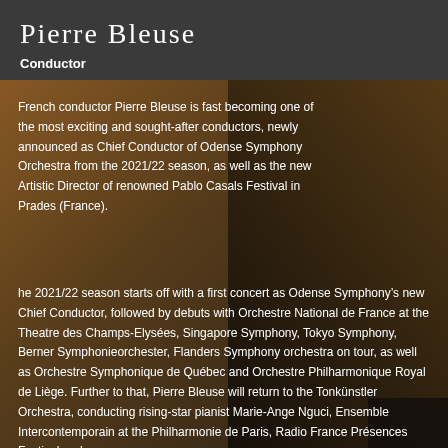Pierre Bleuse
Conductor
[Figure (photo): Background portrait photo of Pierre Bleuse, a man in a brown leather jacket, photographed in a dark, moody style. The image serves as the background for the lower portion of the page.]
French conductor Pierre Bleuse is fast becoming one of the most exciting and sought-after conductors, newly announced as Chief Conductor of Odense Symphony Orchestra from the 2021/22 season, as well as the new Artistic Director of renowned Pablo Casals Festival in Prades (France).
he 2021/22 season starts off with a first concert as Odense Symphony’s new Chief Conductor, followed by debuts with Orchestre National de France at the Theatre des Champs-Elysées, Singapore Symphony, Tokyo Symphony, Berner Symphonieorchester, Flanders Symphony orchestra on tour, as well as Orchestre Symphonique de Québec and Orchestre Philharmonique Royal de Liège. Further to that, Pierre Bleuse will return to the Tonkünstler Orchestra, conducting rising-star pianist Marie-Ange Nguci, Ensemble Intercontemporain at the Philharmonie de Paris, Radio France Présences Festival and